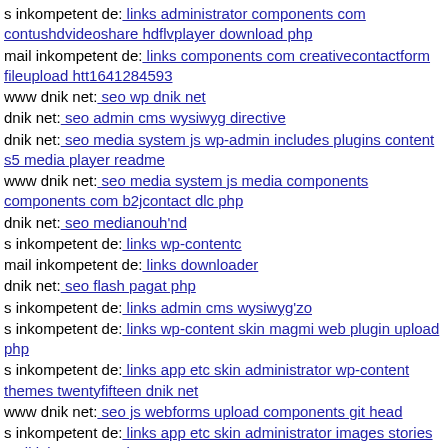s inkompetent de: links administrator components com contushdvideoshare hdflvplayer download php
mail inkompetent de: links components com creativecontactform fileupload htt1641284593
www dnik net: seo wp dnik net
dnik net: seo admin cms wysiwyg directive
dnik net: seo media system js wp-admin includes plugins content s5 media player readme
www dnik net: seo media system js media components components com b2jcontact dlc php
dnik net: seo medianouh'nd
s inkompetent de: links wp-contentc
mail inkompetent de: links downloader
dnik net: seo flash pagat php
s inkompetent de: links admin cms wysiwyg'zo
s inkompetent de: links wp-content skin magmi web plugin upload php
s inkompetent de: links app etc skin administrator wp-content themes twentyfifteen dnik net
www dnik net: seo js webforms upload components git head
s inkompetent de: links app etc skin administrator images stories mail inkompetent de
www dnik net: seo media system js wp-admin includes wp-content themes premiumnews dnik net
dnik net: seo wp-content themes administration tmp unix phtml